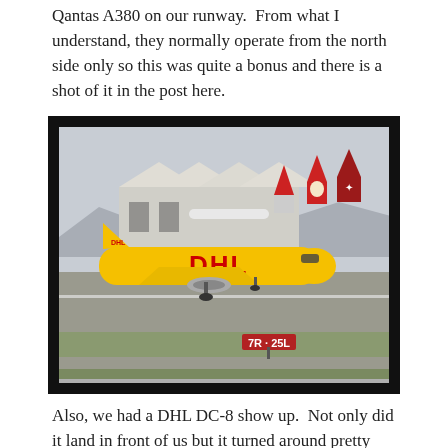Qantas A380 on our runway.  From what I understand, they normally operate from the north side only so this was quite a bonus and there is a shot of it in the post here.
[Figure (photo): A yellow DHL DC-8 cargo aircraft taxiing on a runway at LAX airport (runway sign 7R-25L visible), with American Airlines, Alaska Airlines and Qantas tail fins visible in the background near airport hangars.]
Also, we had a DHL DC-8 show up.  Not only did it land in front of us but it turned around pretty quickly and soon taxied past us and lined up to depart.  Not a bad piece of luck.  The